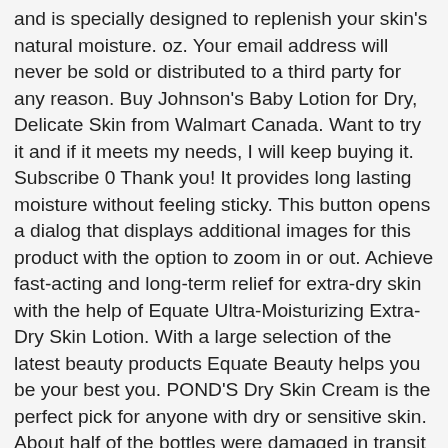and is specially designed to replenish your skin's natural moisture. oz. Your email address will never be sold or distributed to a third party for any reason. Buy Johnson's Baby Lotion for Dry, Delicate Skin from Walmart Canada. Want to try it and if it meets my needs, I will keep buying it. Subscribe 0 Thank you! It provides long lasting moisture without feeling sticky. This button opens a dialog that displays additional images for this product with the option to zoom in or out. Achieve fast-acting and long-term relief for extra-dry skin with the help of Equate Ultra-Moisturizing Extra-Dry Skin Lotion. With a large selection of the latest beauty products Equate Beauty helps you be your best you. POND'S Dry Skin Cream is the perfect pick for anyone with dry or sensitive skin. About half of the bottles were damaged in transit due to the lack of packing and being thrown in with giant laundry soap containers. This paraben-free lotion is dermatologist tested and does not contain phthalates. That's why we developed our oil-infused Wet Skin Moisturizing Lotion to work when skin is most receptive